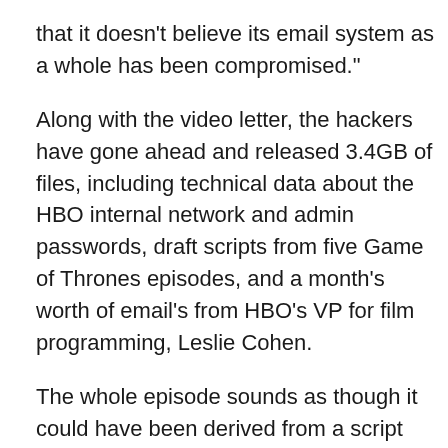that it doesn't believe its email system as a whole has been compromised."
Along with the video letter, the hackers have gone ahead and released 3.4GB of files, including technical data about the HBO internal network and admin passwords, draft scripts from five Game of Thrones episodes, and a month's worth of email's from HBO's VP for film programming, Leslie Cohen.
The whole episode sounds as though it could have been derived from a script from Mr. Robot, but so far as I know, USA Network has, thus far, been immune from hacktivists.
HBO's response, according to The Hacker News, is that the company's "forensic review is ongoing."
But one has to wonder whether, somewhere on some